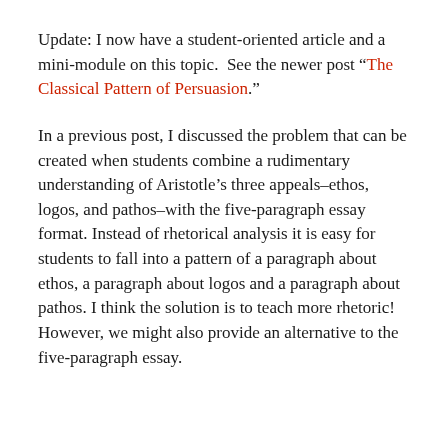Update: I now have a student-oriented article and a mini-module on this topic.  See the newer post “The Classical Pattern of Persuasion.”
In a previous post, I discussed the problem that can be created when students combine a rudimentary understanding of Aristotle’s three appeals–ethos, logos, and pathos–with the five-paragraph essay format. Instead of rhetorical analysis it is easy for students to fall into a pattern of a paragraph about ethos, a paragraph about logos and a paragraph about pathos. I think the solution is to teach more rhetoric! However, we might also provide an alternative to the five-paragraph essay.